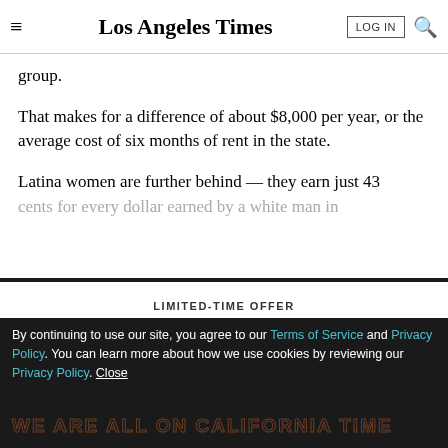Los Angeles Times
group.
That makes for a difference of about $8,000 per year, or the average cost of six months of rent in the state.
Latina women are further behind — they earn just 43 cents for every dollar earned by a white man in
LIMITED-TIME OFFER
$1 for 6 Months
SUBSCRIBE NOW
By continuing to use our site, you agree to our Terms of Service and Privacy Policy. You can learn more about how we use cookies by reviewing our Privacy Policy. Close